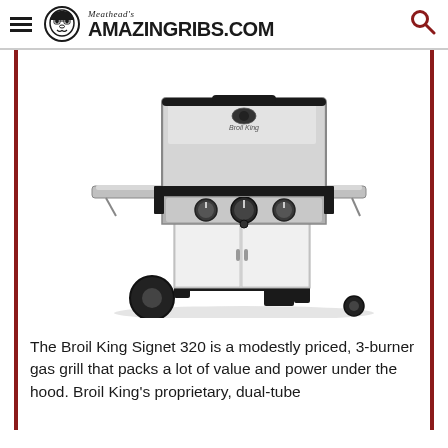Meathead's AMAZINGRIBS.COM
[Figure (photo): Photo of a Broil King Signet 320 stainless steel and black 3-burner gas grill with two side shelves, two cabinet doors, and two wheels.]
The Broil King Signet 320 is a modestly priced, 3-burner gas grill that packs a lot of value and power under the hood. Broil King's proprietary, dual-tube